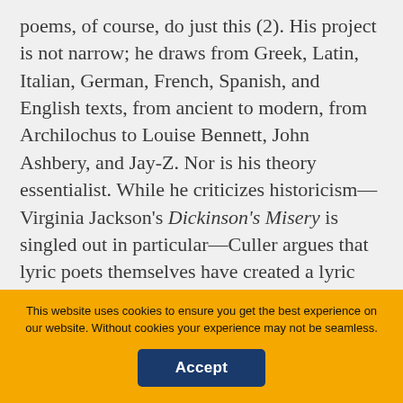poems, of course, do just this (2). His project is not narrow; he draws from Greek, Latin, Italian, German, French, Spanish, and English texts, from ancient to modern, from Archilochus to Louise Bennett, John Ashbery, and Jay-Z. Nor is his theory essentialist. While he criticizes historicism—Virginia Jackson's Dickinson's Misery is singled out in particular—Culler argues that lyric poets themselves have created a lyric tradition across time by responding to predecessors, although he looks only at t[...] at stretches back
collapse
You are not currently authenticated. If you would like to authenticate using a different subscribed institution or
This website uses cookies to ensure you get the best experience on our website. Without cookies your experience may not be seamless.
Accept